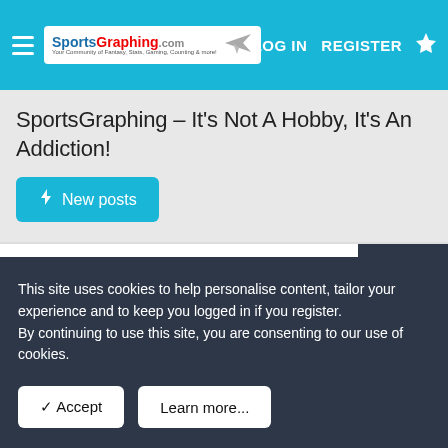SportsGraphing.com — LOG IN  REGISTER
SportsGraphing - It's Not A Hobby, It's An Addiction!
ANNOUNCEMENTS/FEEDBACK
Announcements and Feedback
Private
Introductions and Short Cuts
This site uses cookies to help personalise content, tailor your experience and to keep you logged in if you register.
By continuing to use this site, you are consenting to our use of cookies.